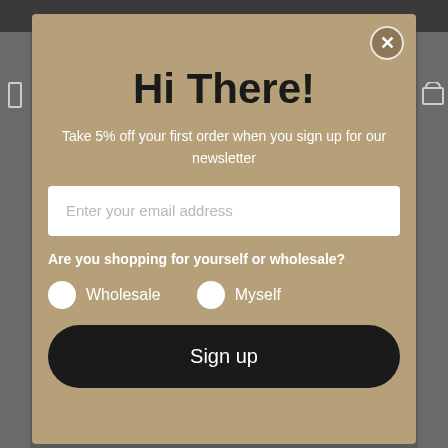Hi There!
Take 5% off your first order when you sign up for our newsletter
Enter your email address
Are you shopping for yourself or wholesale?
Wholesale
Myself
Sign up